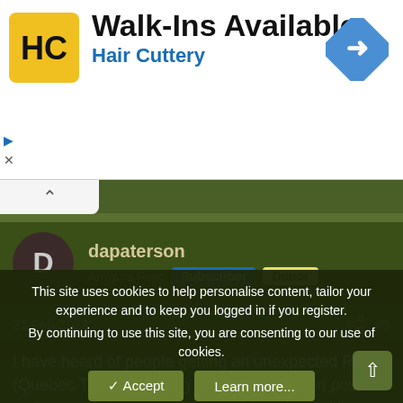[Figure (screenshot): Hair Cuttery advertisement banner with logo, 'Walk-Ins Available' heading, and navigation arrow icon]
dapaterson
Army.ca Relic  Subscriber  Donor
21 Feb 2022
#9
I have heard of people getting an unexpected RL1 (Quebec Tax form) along with their T4 when posted to Ottawa; right now, with everything virtual, it's possible some wires got crossed and you were mistakenly listed as working in Quebec.
This site uses cookies to help personalise content, tailor your experience and to keep you logged in if you register.
By continuing to use this site, you are consenting to our use of cookies.
Accept
Learn more...